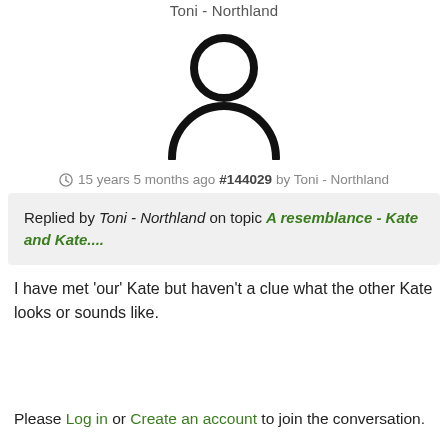Toni - Northland
[Figure (illustration): Generic user avatar icon: circle head above a semicircle body outline, black strokes on white background]
15 years 5 months ago #144029 by Toni - Northland
Replied by Toni - Northland on topic A resemblance - Kate and Kate....
I have met 'our' Kate but haven't a clue what the other Kate looks or sounds like.
Please Log in or Create an account to join the conversation.